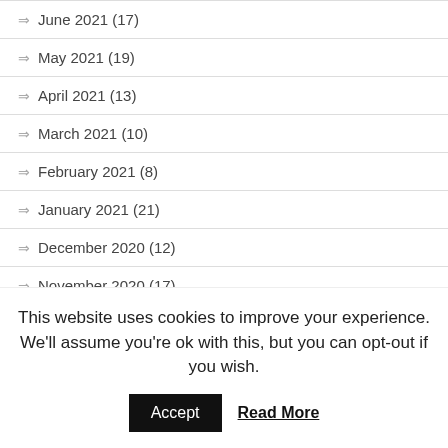June 2021 (17)
May 2021 (19)
April 2021 (13)
March 2021 (10)
February 2021 (8)
January 2021 (21)
December 2020 (12)
November 2020 (17)
October 2020 (15)
September 2020 (29)
August 2020 (14)
This website uses cookies to improve your experience. We'll assume you're ok with this, but you can opt-out if you wish.